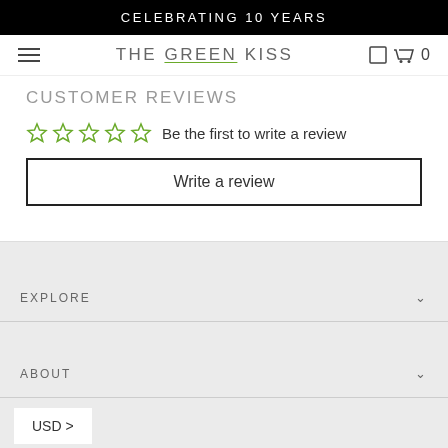CELEBRATING 10 YEARS
THE GREEN KISS
CUSTOMER REVIEWS
Be the first to write a review
Write a review
EXPLORE
ABOUT
USD >
CONTACT